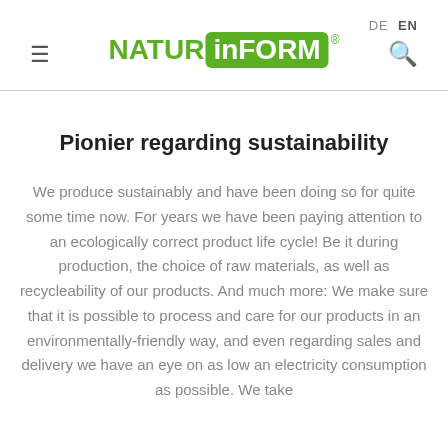DE  EN  ≡  NATUR inFORM®  🔍
Pionier regarding sustainability
We produce sustainably and have been doing so for quite some time now. For years we have been paying attention to an ecologically correct product life cycle! Be it during production, the choice of raw materials, as well as recycleability of our products. And much more: We make sure that it is possible to process and care for our products in an environmentally-friendly way, and even regarding sales and delivery we have an eye on as low an electricity consumption as possible. We take responsibility for the environment and climate.